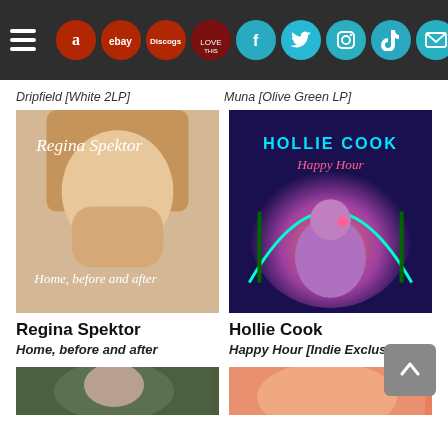Navigation header with hamburger menu and marketplace/social icons: Amazon, eBay, Discogs, Love This, Facebook, Twitter, Instagram, TikTok, Email
Dripfield [White 2LP]
Muna [Olive Green LP]
[Figure (photo): Album cover for Regina Spektor - Home, before and after. Portrait photo of woman with hands near face, cursive text overlay.]
[Figure (photo): Album cover for Hollie Cook - Happy Hour [Indie Exclusi...]. Illustrated retro tropical scene with animated woman holding a drink.]
Regina Spektor
Home, before and after
Hollie Cook
Happy Hour [Indie Exclusi...
[Figure (photo): Partial album cover bottom left, dark green tones with close-up face.]
[Figure (photo): Partial album cover bottom right, orange/warm tones.]